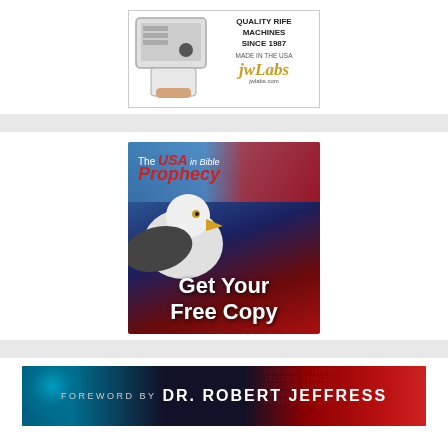[Figure (illustration): jwLabs advertisement showing a Rife machine device with text: QUALITY RIFE MACHINES SINCE 1987, MADE IN THE USA, jwLabs logo, jwlabs.com]
[Figure (illustration): Book/offer advertisement: The USA in Bible Prophecy - Get Your Free Copy, featuring a bald eagle and American flag]
[Figure (illustration): Banner advertisement with text: FOREWORD BY DR. ROBERT JEFFRESS, with teal/dark/red gradient background]